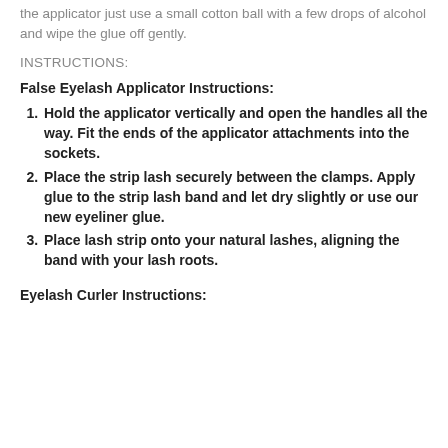the applicator just use a small cotton ball with a few drops of alcohol and wipe the glue off gently.
INSTRUCTIONS:
False Eyelash Applicator Instructions:
Hold the applicator vertically and open the handles all the way. Fit the ends of the applicator attachments into the sockets.
Place the strip lash securely between the clamps. Apply glue to the strip lash band and let dry slightly or use our new eyeliner glue.
Place lash strip onto your natural lashes, aligning the band with your lash roots.
Eyelash Curler Instructions: